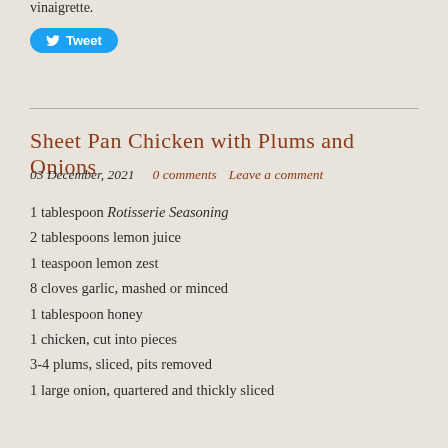vinaigrette.
[Figure (other): Twitter Tweet button (blue rounded pill button with bird icon and 'Tweet' text)]
Sheet Pan Chicken with Plums and Onions
03 December, 2021   0 comments   Leave a comment
1 tablespoon Rotisserie Seasoning
2 tablespoons lemon juice
1 teaspoon lemon zest
8 cloves garlic, mashed or minced
1 tablespoon honey
1 chicken, cut into pieces
3-4 plums, sliced, pits removed
1 large onion, quartered and thickly sliced